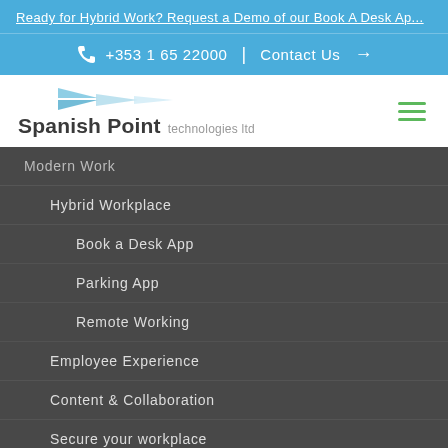Ready for Hybrid Work? Request a Demo of our Book A Desk Ap...
+353 1 65 22000  |  Contact Us →
[Figure (logo): Spanish Point technologies ltd logo with blue geometric arrow shapes]
Modern Work
Hybrid Workplace
Book a Desk App
Parking App
Remote Working
Employee Experience
Content & Collaboration
Secure your workplace
CRM Solutions
Stakeholder Relationship Management
Membership Management